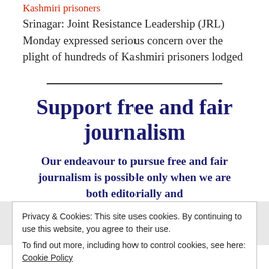Kashmiri prisoners
Srinagar: Joint Resistance Leadership (JRL) Monday expressed serious concern over the plight of hundreds of Kashmiri prisoners lodged
Support free and fair journalism
Our endeavour to pursue free and fair journalism is possible only when we are both editorially and
Privacy & Cookies: This site uses cookies. By continuing to use this website, you agree to their use.
To find out more, including how to control cookies, see here: Cookie Policy
Close and accept
drop of our ink.